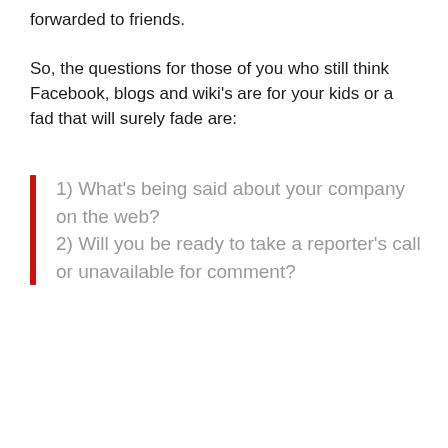forwarded to friends.
So, the questions for those of you who still think Facebook, blogs and wiki’s are for your kids or a fad that will surely fade are:
1) What’s being said about your company on the web?
2) Will you be ready to take a reporter’s call or unavailable for comment?